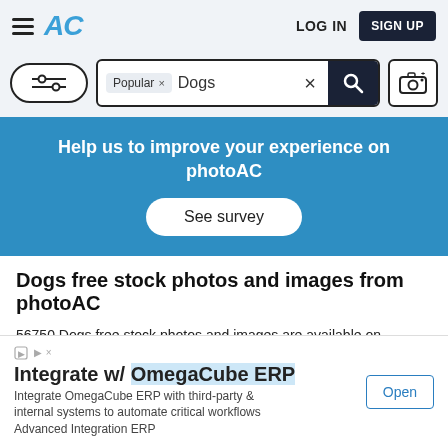AC — LOG IN — SIGN UP
[Figure (screenshot): Search bar with filter button, search field showing 'Popular x Dogs x' with search and camera buttons]
Help us to improve your experience on photoAC
See survey
Dogs free stock photos and images from photoAC
56750 Dogs free stock photos and images are available on photoAC and more will be uploaded every day.
are Dogs free vector and illustrations and Dogs free silhouettes
[Figure (screenshot): Advertisement banner: Integrate w/ OmegaCube ERP — Integrate OmegaCube ERP with third-party & internal systems to automate critical workflows Advanced Integration ERP — Open button]